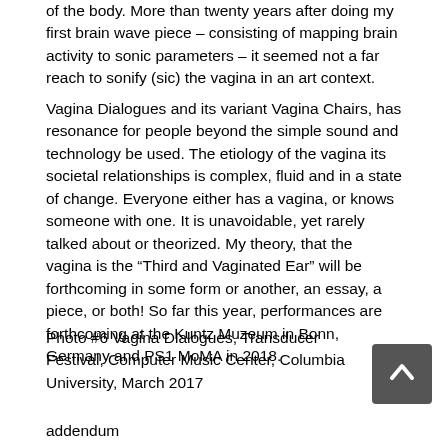of the body. More than twenty years after doing my first brain wave piece – consisting of mapping brain activity to sonic parameters – it seemed not a far reach to sonify (sic) the vagina in an art context.
Vagina Dialogues and its variant Vagina Chairs, has resonance for people beyond the simple sound and technology be used. The etiology of the vagina its societal relationships is complex, fluid and in a state of change. Everyone either has a vagina, or knows someone with one. It is unavoidable, yet rarely talked about or theorized. My theory, that the vagina is the “Third and Vaginated Ear” will be forthcoming in some form or another, an essay, a piece, or both! So far this year, performances are forthcoming at the Kuntz Muzeum in Bonn, Germany and PS1 MoMA in 2018.
Photo #6 Vagina Dialogues, Transducer Festival, Computer Music Center, Columbia University, March 2017
addendum